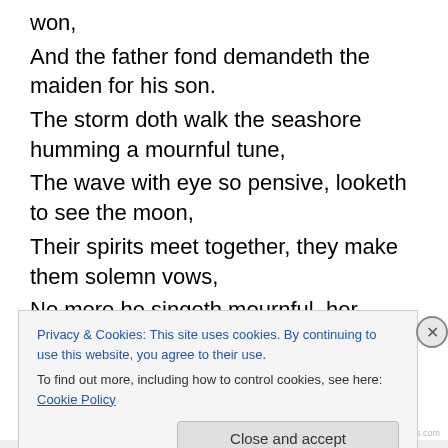won,
And the father fond demandeth the maiden for his son.
The storm doth walk the seashore humming a mournful tune,
The wave with eye so pensive, looketh to see the moon,
Their spirits meet together, they make them solemn vows,
No more he singeth mournful, her sadness she doth lose.
The worm doth woo the mortal, death claims a living bride,
Night unto day is married, morn unto eventide;
Earth is a merry damsel, and heaven a knight so true,
And Earth is quite coquettish, and beseemeth in vain to
Privacy & Cookies: This site uses cookies. By continuing to use this website, you agree to their use.
To find out more, including how to control cookies, see here: Cookie Policy